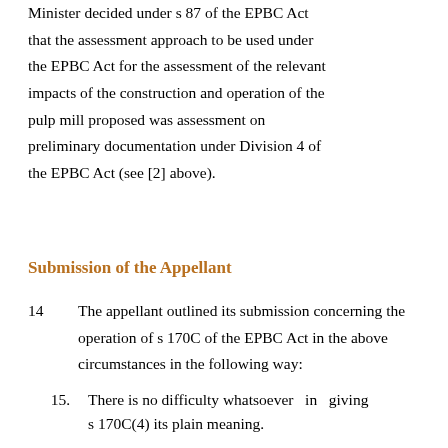Minister decided under s 87 of the EPBC Act that the assessment approach to be used under the EPBC Act for the assessment of the relevant impacts of the construction and operation of the pulp mill proposed was assessment on preliminary documentation under Division 4 of the EPBC Act (see [2] above).
Submission of the Appellant
14	The appellant outlined its submission concerning the operation of s 170C of the EPBC Act in the above circumstances in the following way:
15.	There is no difficulty whatsoever in giving s 170C(4) its plain meaning.